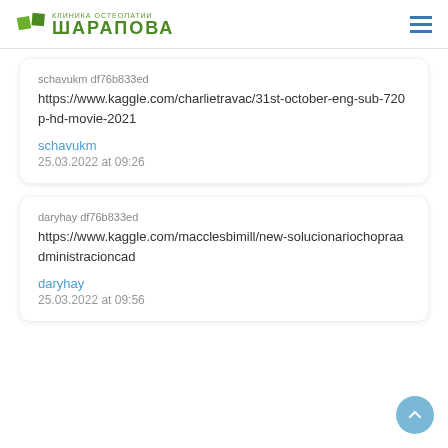КЛИНИКА ОСТЕОПАТИИ ШАРАПОВА
schavukm df76b833ed https://www.kaggle.com/charlietravac/31st-october-eng-sub-720p-hd-movie-2021 schavukm 25.03.2022 at 09:26
daryhay df76b833ed https://www.kaggle.com/macclesbimill/new-solucionariochopraadministracioncad daryhay 25.03.2022 at 09:56